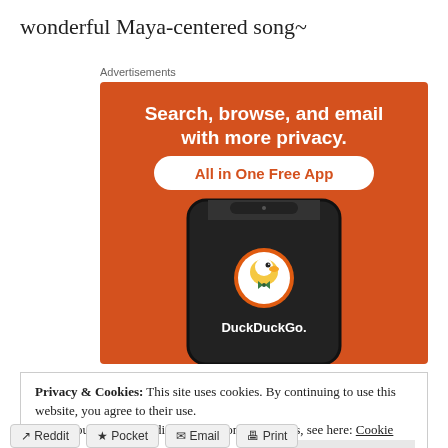wonderful Maya-centered song~
Advertisements
[Figure (illustration): DuckDuckGo advertisement banner on orange background showing a smartphone with DuckDuckGo app. Text reads: 'Search, browse, and email with more privacy. All in One Free App'. Shows DuckDuckGo duck logo on phone screen.]
Privacy & Cookies: This site uses cookies. By continuing to use this website, you agree to their use.
To find out more, including how to control cookies, see here: Cookie Policy
Close and accept
Reddit   Pocket   Email   Print